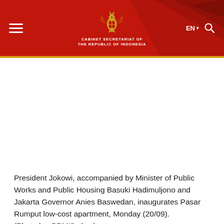CABINET SECRETARIAT OF THE REPUBLIC OF INDONESIA
[Figure (photo): Photo of President Jokowi inaugurating Pasar Rumput low-cost apartment with Minister of Public Works and Jakarta Governor (image not visible/white in scan)]
President Jokowi, accompanied by Minister of Public Works and Public Housing Basuki Hadimuljono and Jakarta Governor Anies Baswedan, inaugurates Pasar Rumput low-cost apartment, Monday (20/09). (Photo by: BPMI/Lukas)